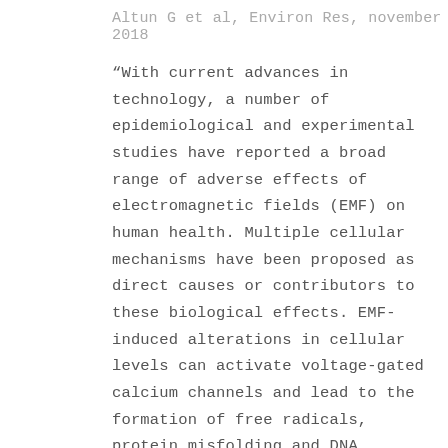Altun G et al, Environ Res, november 2018
"With current advances in technology, a number of epidemiological and experimental studies have reported a broad range of adverse effects of electromagnetic fields (EMF) on human health. Multiple cellular mechanisms have been proposed as direct causes or contributors to these biological effects. EMF-induced alterations in cellular levels can activate voltage-gated calcium channels and lead to the formation of free radicals, protein misfolding and DNA damage. Because rapidly dividing germ cells go through meiosis and mitosis, they are more sensitive to EMF in contrast to